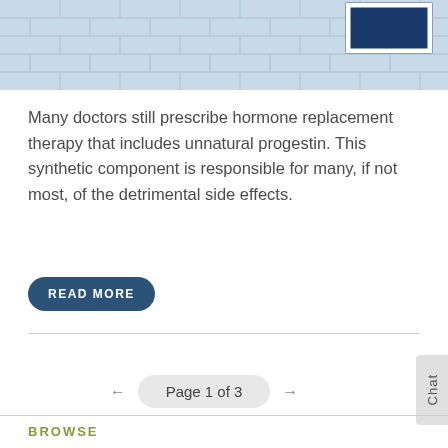[Figure (photo): Light blue tile wall background with a dark navy blue sign in the upper right corner with a white border, partially cropped]
Many doctors still prescribe hormone replacement therapy that includes unnatural progestin. This synthetic component is responsible for many, if not most, of the detrimental side effects.
READ MORE
Page 1 of 3
BROWSE